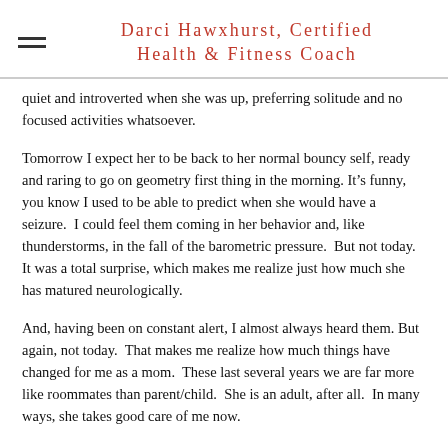Darci Hawxhurst, Certified Health & Fitness Coach
quiet and introverted when she was up, preferring solitude and no focused activities whatsoever.
Tomorrow I expect her to be back to her normal bouncy self, ready and raring to go on geometry first thing in the morning. It's funny, you know I used to be able to predict when she would have a seizure. I could feel them coming in her behavior and, like thunderstorms, in the fall of the barometric pressure. But not today. It was a total surprise, which makes me realize just how much she has matured neurologically.
And, having been on constant alert, I almost always heard them. But again, not today. That makes me realize how much things have changed for me as a mom. These last several years we are far more like roommates than parent/child. She is an adult, after all. In many ways, she takes good care of me now.